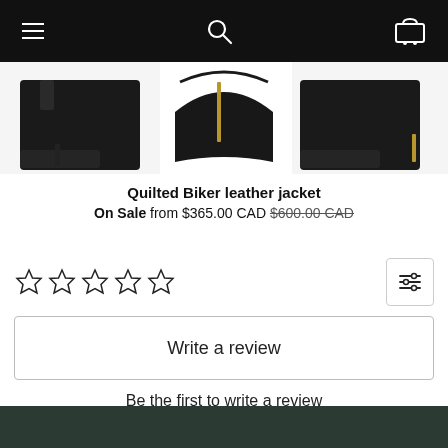Navigation bar with menu, search, and cart icons
[Figure (photo): Partial view of black quilted biker leather jackets displayed across three image panels]
Quilted Biker leather jacket
On Sale from $365.00 CAD $600.00 CAD
[Figure (other): Five empty star rating icons (0 out of 5 stars) with a filter/sort button on the right]
Write a review
Be the first to write a review
Dark green footer bar